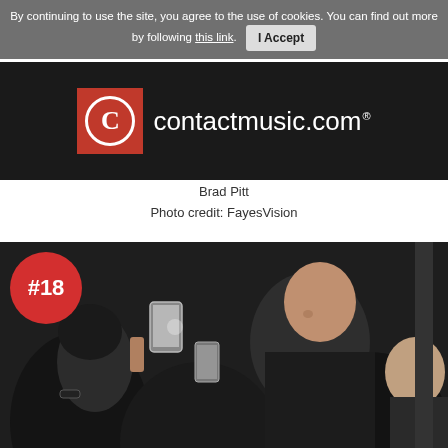By continuing to use the site, you agree to the use of cookies. You can find out more by following this link. I Accept
[Figure (logo): contactmusic.com logo — red square with white circle C icon and white text 'contactmusic.com' on black background]
Brad Pitt
Photo credit: FayesVision
[Figure (photo): Photo of Brad Pitt at a public event surrounded by fans taking photos, with a red circular #18 badge overlay in the top-left corner]
Save Big on Goodyear Tires
Virginia Tire & Auto of Ashburn